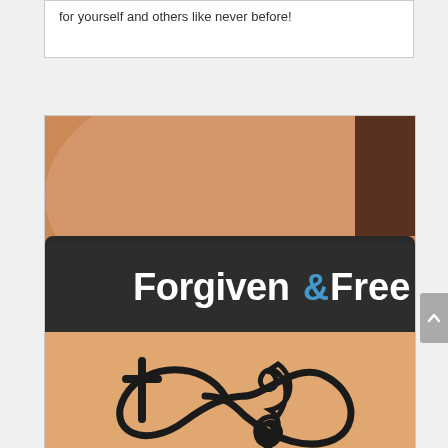for yourself and others like never before!
[Figure (photo): A wrist wearing a dark silicone bracelet reading 'Forgiven & Free' (with '&' in blue), and below it a tattoo of an infinity symbol incorporating a cross on the left and a treble clef on the right.]